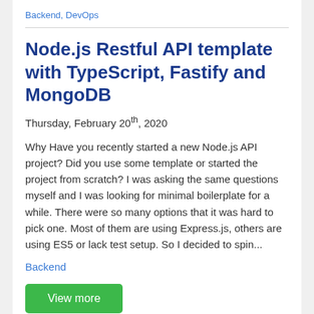Backend, DevOps
Node.js Restful API template with TypeScript, Fastify and MongoDB
Thursday, February 20th, 2020
Why Have you recently started a new Node.js API project? Did you use some template or started the project from scratch? I was asking the same questions myself and I was looking for minimal boilerplate for a while. There were so many options that it was hard to pick one. Most of them are using Express.js, others are using ES5 or lack test setup. So I decided to spin...
Backend
View more